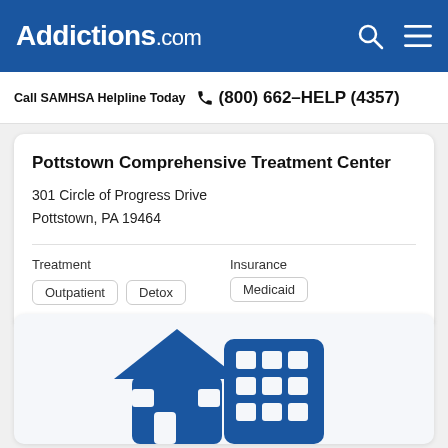Addictions.com
Call SAMHSA Helpline Today (800) 662-HELP (4357)
Pottstown Comprehensive Treatment Center
301 Circle of Progress Drive
Pottstown, PA 19464
Treatment: Outpatient, Detox | Insurance: Medicaid
[Figure (illustration): Icon of a house and a building representing a treatment facility]